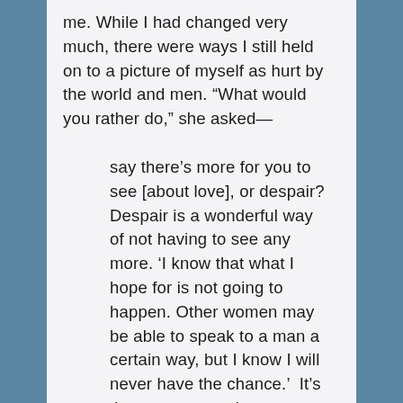me. While I had changed very much, there were ways I still held on to a picture of myself as hurt by the world and men. “What would you rather do,” she asked—

 say there's more for you to see [about love], or despair? Despair is a wonderful way of not having to see any more. ‘I know that what I hope for is not going to happen. Other women may be able to speak to a man a certain way, but I know I will never have the chance.’  It’s the same as putting a crown on your head.